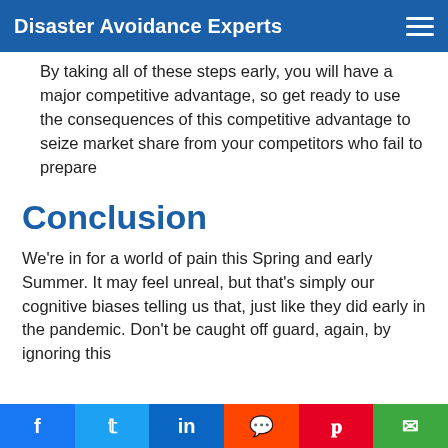Disaster Avoidance Experts
By taking all of these steps early, you will have a major competitive advantage, so get ready to use the consequences of this competitive advantage to seize market share from your competitors who fail to prepare
Conclusion
We're in for a world of pain this Spring and early Summer. It may feel unreal, but that's simply our cognitive biases telling us that, just like they did early in the pandemic. Don't be caught off guard, again, by ignoring this